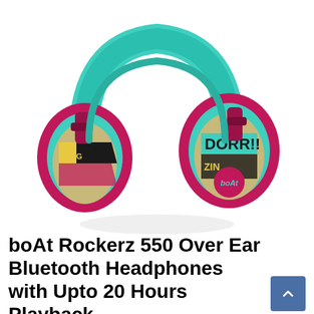[Figure (photo): boAt Rockerz 550 over-ear Bluetooth headphones in teal/turquoise and magenta/pink color scheme with comic-book style graphics (DORR!!, ZING) on the ear cup, with the boAt logo on a circular pink button on the ear cup. The headband is teal and the ear cups are magenta with teal padding.]
boAt Rockerz 550 Over Ear Bluetooth Headphones with Upto 20 Hours Playback